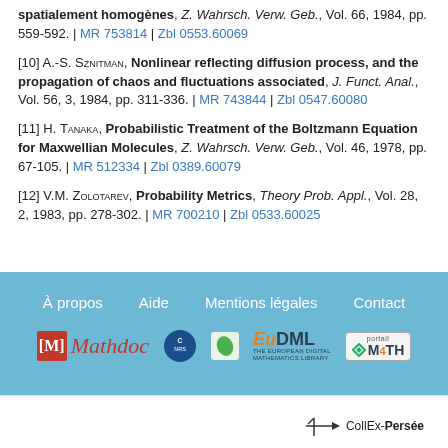[10] A.-S. Sznitman, Nonlinear reflecting diffusion process, and the propagation of chaos and fluctuations associated, J. Funct. Anal., Vol. 56, 3, 1984, pp. 311-336. | MR 743844 | Zbl 0547.60080
[11] H. Tanaka, Probabilistic Treatment of the Boltzmann Equation for Maxwellian Molecules, Z. Wahrsch. Verw. Geb., Vol. 46, 1978, pp. 67-105. | MR 512334 | Zbl 0389.60079
[12] V.M. Zolotarev, Probability Metrics, Theory Prob. Appl., Vol. 28, 2, 1983, pp. 278-302. | MR 700210 | Zbl 0533.60025
À propos  Aide  Mentions légales  Contact